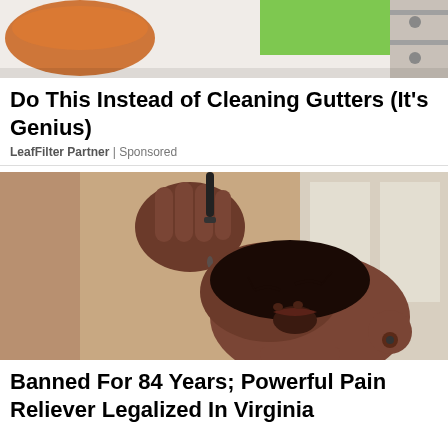[Figure (photo): Partial top image of a gutter or orange drink with green grass background and metal objects on the right side — advertisement image for gutter cleaning product]
Do This Instead of Cleaning Gutters (It's Genius)
LeafFilter Partner | Sponsored
[Figure (photo): A Black woman tilting her head back and using a dropper to place liquid into her mouth, with a blurred indoor background — advertisement image for a pain reliever product]
Banned For 84 Years; Powerful Pain Reliever Legalized In Virginia